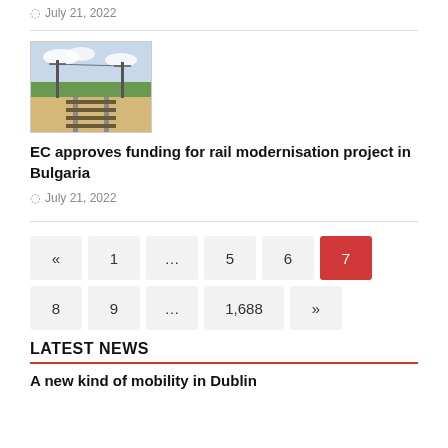July 21, 2022
[Figure (photo): Railway tracks with electric poles and green vegetation in background]
EC approves funding for rail modernisation project in Bulgaria
July 21, 2022
« 1 ... 5 6 7 8 9 ... 1,688 »
LATEST NEWS
A new kind of mobility in Dublin